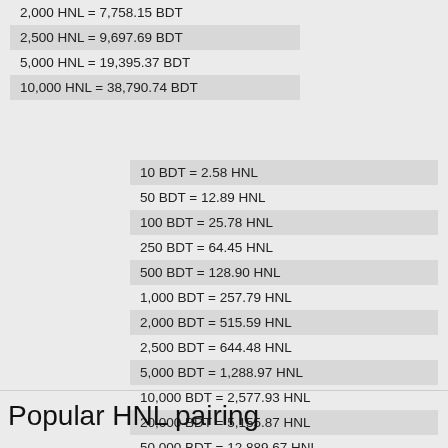| 2,000 HNL = 7,758.15 BDT |
| 2,500 HNL = 9,697.69 BDT |
| 5,000 HNL = 19,395.37 BDT |
| 10,000 HNL = 38,790.74 BDT |
| 10 BDT = 2.58 HNL |
| 50 BDT = 12.89 HNL |
| 100 BDT = 25.78 HNL |
| 250 BDT = 64.45 HNL |
| 500 BDT = 128.90 HNL |
| 1,000 BDT = 257.79 HNL |
| 2,000 BDT = 515.59 HNL |
| 2,500 BDT = 644.48 HNL |
| 5,000 BDT = 1,288.97 HNL |
| 10,000 BDT = 2,577.93 HNL |
| 20,000 BDT = 5,155.87 HNL |
| 50,000 BDT = 12,889.67 HNL |
| 100,000 BDT = 25,779.35 HNL |
| 250,000 BDT = 64,448.37 HNL |
| 500,000 BDT = 128,896.74 HNL |
Popular HNL pairing